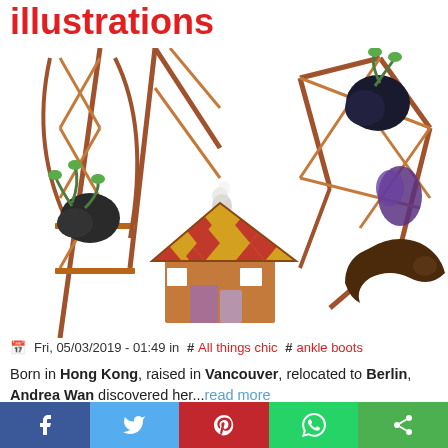illustrations
[Figure (illustration): Colorful illustration showing geometric wooden scaffolding structures with a small house featuring a diamond-patterned red and yellow roof with a chimney emitting smoke, black rock-like shapes with green plants, and a dark bird/creature on the right structure, on white background.]
Fri, 05/03/2019 - 01:49 in #All things chic #ankle boots
Born in Hong Kong, raised in Vancouver, relocated to Berlin, Andrea Wan discovered her...read more
Alexey Kurbatov, the illustrator
Share bar: Facebook, Twitter, Pinterest, WhatsApp, Share